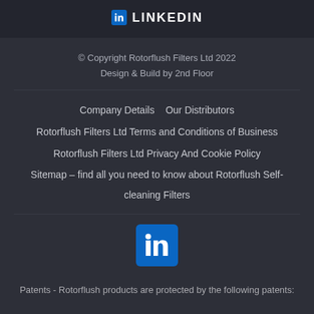in LINKEDIN
© Copyright Rotorflush Filters Ltd 2022
Design & Build by 2nd Floor
Company Details
Our Distributors
Rotorflush Filters Ltd Terms and Conditions of Business
Rotorflush Filters Ltd Privacy And Cookie Policy
Sitemap – find all you need to know about Rotorflush Self-cleaning Filters
[Figure (logo): LinkedIn logo — blue square with white 'in' text]
Patents - Rotorflush products are protected by the following patents: